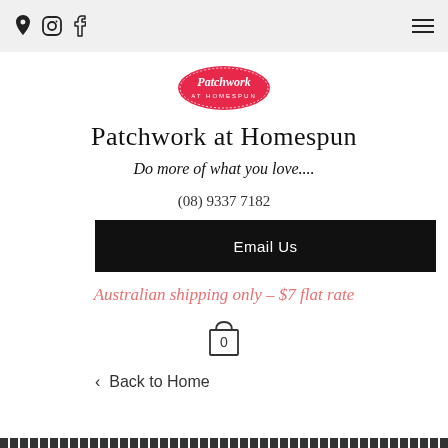Navigation bar with location, Instagram, Facebook icons and hamburger menu
[Figure (logo): Patchwork at Homespun logo — pink oval with white cursive text]
Patchwork at Homespun
Do more of what you love....
(08) 9337 7182
Email Us
Australian shipping only – $7 flat rate
[Figure (illustration): Shopping bag / cart icon with 0 inside]
< Back to Home
Decorative bottom bar